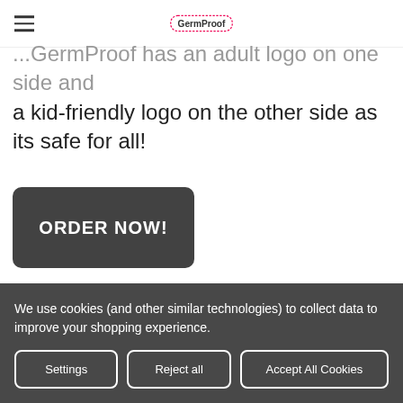GermProof
...GermProof has an adult logo on one side and a kid-friendly logo on the other side as its safe for all!
ORDER NOW!
We use cookies (and other similar technologies) to collect data to improve your shopping experience.
Settings | Reject all | Accept All Cookies